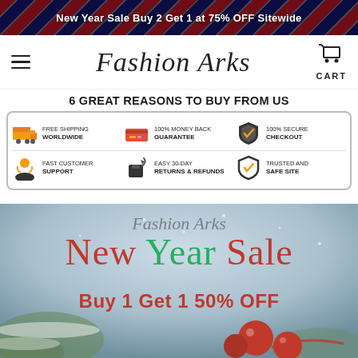New Year Sale Buy 2 Get 1 at 75% OFF Sitewide
Fashion Arks
[Figure (infographic): 6 Great Reasons To Buy From Us: Free Shipping Worldwide, 100% Money Back Guarantee, 100% Secure Checkout, Fast Customer Support, Easy 30-Day Returns & Refunds, Trusted And Safe Site]
[Figure (illustration): Fashion Arks New Year Sale promotional banner with script text 'New Year Sale' and bold red text 'Buy 1 Get 1 50% OFF' over a winter holiday background with Christmas ornaments and pine branches]